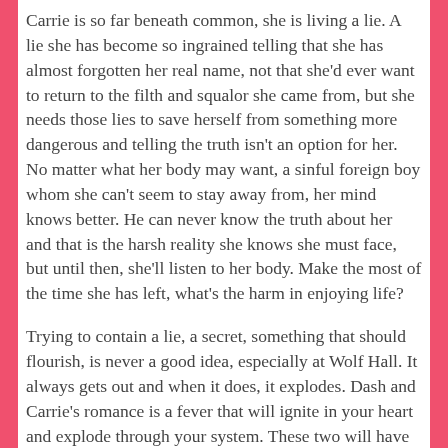Carrie is so far beneath common, she is living a lie. A lie she has become so ingrained telling that she has almost forgotten her real name, not that she'd ever want to return to the filth and squalor she came from, but she needs those lies to save herself from something more dangerous and telling the truth isn't an option for her. No matter what her body may want, a sinful foreign boy whom she can't seem to stay away from, her mind knows better. He can never know the truth about her and that is the harsh reality she knows she must face, but until then, she'll listen to her body. Make the most of the time she has left, what's the harm in enjoying life?
Trying to contain a lie, a secret, something that should flourish, is never a good idea, especially at Wolf Hall. It always gets out and when it does, it explodes. Dash and Carrie's romance is a fever that will ignite in your heart and explode through your system. These two will have your heart beating faster and your mind screaming over how to